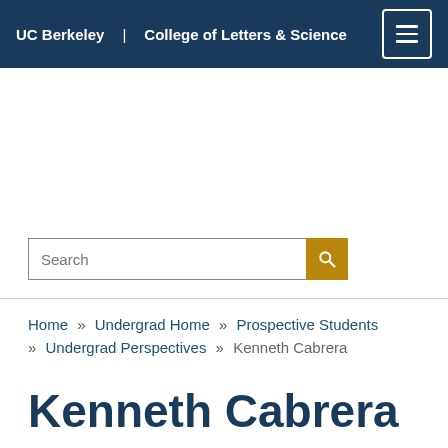UC Berkeley | College of Letters & Science
Search
Home » Undergrad Home » Prospective Students » Undergrad Perspectives » Kenneth Cabrera
Kenneth Cabrera